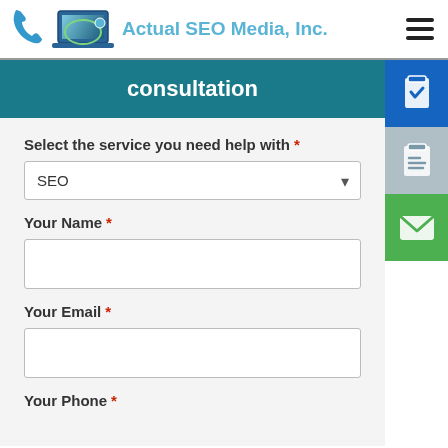Actual SEO Media, Inc.
consultation
Select the service you need help with *
Your Name *
Your Email *
Your Phone *